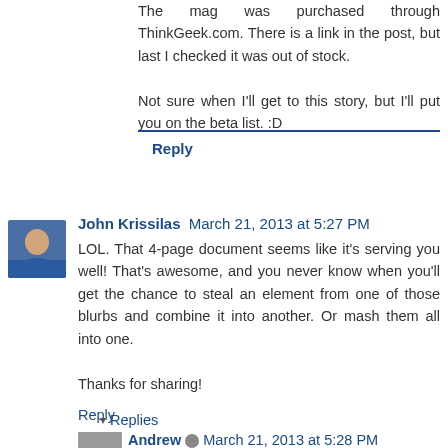The mag was purchased through ThinkGeek.com. There is a link in the post, but last I checked it was out of stock.

Not sure when I'll get to this story, but I'll put you on the beta list. :D
Reply
John Krissilas  March 21, 2013 at 5:27 PM
LOL. That 4-page document seems like it's serving you well! That's awesome, and you never know when you'll get the chance to steal an element from one of those blurbs and combine it into another. Or mash them all into one.

Thanks for sharing!
Reply
▾  Replies
Andrew  March 21, 2013 at 5:28 PM